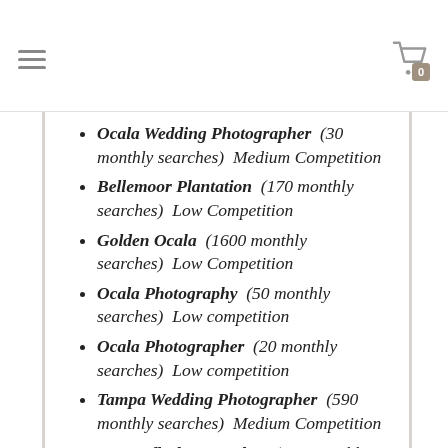[hamburger menu] [cart icon with 0]
Ocala Wedding Photographer  (30 monthly searches)  Medium Competition
Bellemoor Plantation  (170 monthly searches)  Low Competition
Golden Ocala  (1600 monthly searches)  Low Competition
Ocala Photography  (50 monthly searches)  Low competition
Ocala Photographer  (20 monthly searches)  Low competition
Tampa Wedding Photographer  (590 monthly searches)  Medium Competition
Tampa fl Photographer  (140 monthly searches)